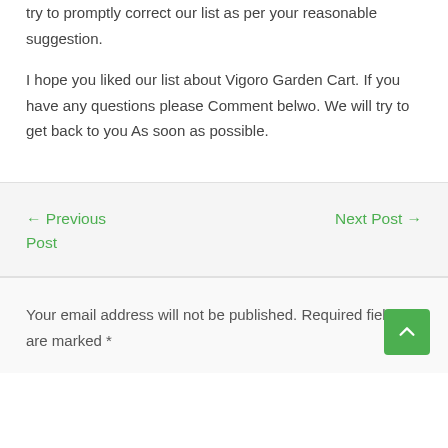try to promptly correct our list as per your reasonable suggestion.
I hope you liked our list about Vigoro Garden Cart. If you have any questions please Comment belwo. We will try to get back to you As soon as possible.
← Previous Post
Next Post →
Your email address will not be published. Required fields are marked *